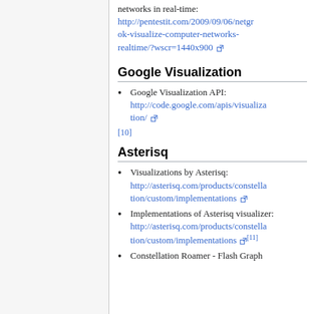networks in real-time: http://pentestit.com/2009/09/06/netgrok-visualize-computer-networks-realtime/?wscr=1440x900
Google Visualization
Google Visualization API: http://code.google.com/apis/visualization/
[10]
Asterisq
Visualizations by Asterisq: http://asterisq.com/products/constellation/custom/implementations
Implementations of Asterisq visualizer: http://asterisq.com/products/constellation/custom/implementations [11]
Constellation Roamer - Flash Graph